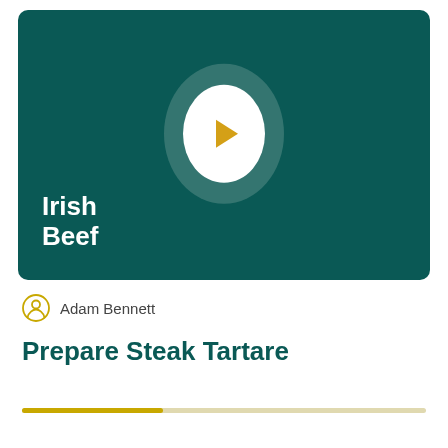[Figure (screenshot): Video thumbnail with dark teal background, circular play button with gold triangle in center, and 'Irish Beef' branding text in white at bottom left]
Adam Bennett
Prepare Steak Tartare